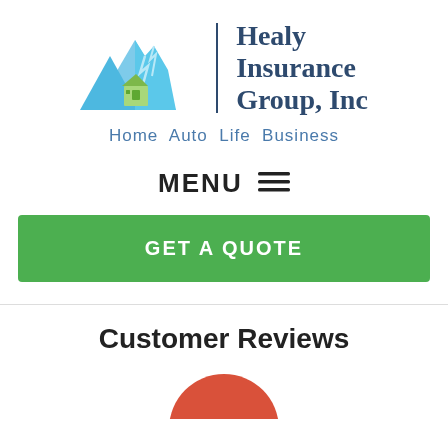[Figure (logo): Healy Insurance Group, Inc logo with mountain and house illustration and company name]
Home  Auto  Life  Business
MENU ≡
GET A QUOTE
Customer Reviews
[Figure (illustration): Partial red circle avatar/review icon at the bottom]